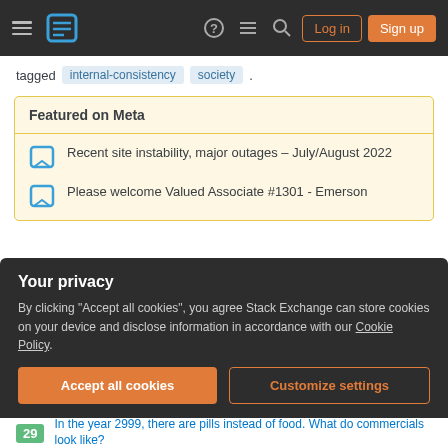Stack Exchange navigation bar with hamburger menu, logo, help, chat, search icons, Log in and Sign up buttons
tagged internal-consistency society .
Featured on Meta
Recent site instability, major outages – July/August 2022
Please welcome Valued Associate #1301 - Emerson
Related
12  Why would robots move us around if we don't want to go anywhere?
Your privacy
By clicking "Accept all cookies", you agree Stack Exchange can store cookies on your device and disclose information in accordance with our Cookie Policy.
Accept all cookies  Customize settings
29  In the year 2999, there are pills instead of food. What do commercials look like?